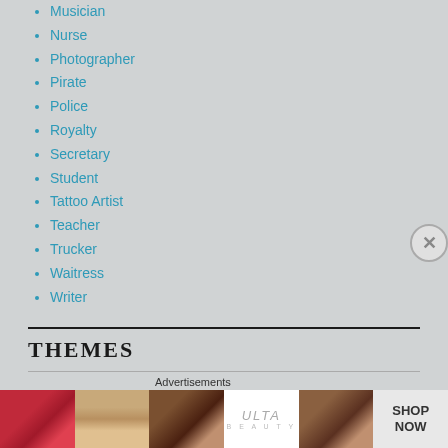Musician
Nurse
Photographer
Pirate
Police
Royalty
Secretary
Student
Tattoo Artist
Teacher
Trucker
Waitress
Writer
THEMES
1940s
1950s
1960s
Abuse
Advertisements
[Figure (photo): Advertisement banner showing makeup/beauty images and ULTA Beauty logo with SHOP NOW text]